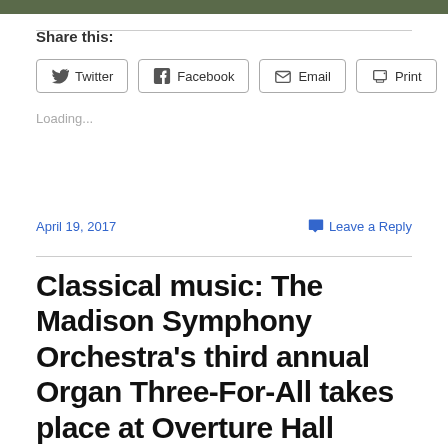[Figure (photo): Partial photo strip at top of page, showing dark green/nature tones]
Share this:
Twitter
Facebook
Email
Print
Loading...
April 19, 2017
Leave a Reply
Classical music: The Madison Symphony Orchestra's third annual Organ Three-For-All takes place at Overture Hall